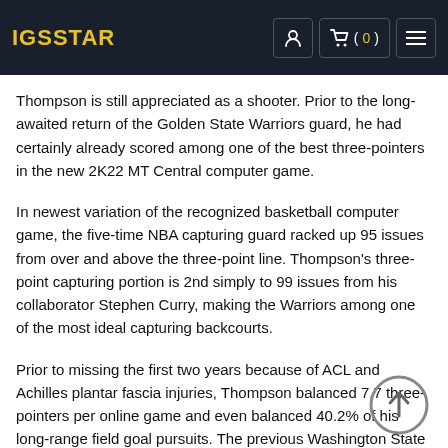IGSSTAR
Thompson is still appreciated as a shooter. Prior to the long-awaited return of the Golden State Warriors guard, he had certainly already scored among one of the best three-pointers in the new 2K22 MT Central computer game.
In newest variation of the recognized basketball computer game, the five-time NBA capturing guard racked up 95 issues from over and above the three-point line. Thompson's three-point capturing portion is 2nd simply to 99 issues from his collaborator Stephen Curry, making the Warriors among one of the most ideal capturing backcourts.
Prior to missing the first two years because of ACL and Achilles plantar fascia injuries, Thompson balanced 7.7 three-pointers per online game and even balanced 40.2% of his long-range field goal pursuits. The previous Washington State Educational institution leader has certainly made greater than 40% of his three-pointers in every time of his eight-year